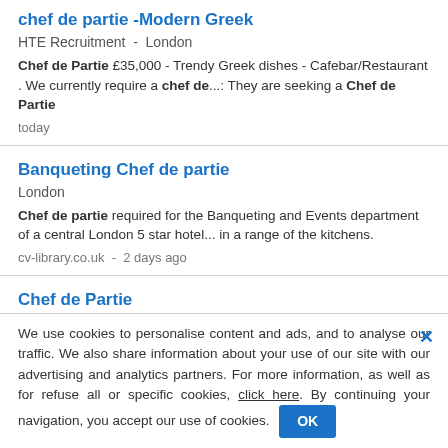chef de partie -Modern Greek
HTE Recruitment  -  London
Chef de Partie £35,000 - Trendy Greek dishes - Cafebar/Restaurant . We currently require a chef de...: They are seeking a Chef de Partie
today
Banqueting Chef de partie
London
Chef de partie required for the Banqueting and Events department of a central London 5 star hotel... in a range of the kitchens.
cv-library.co.uk  -  2 days ago
Chef de Partie
MNKY HSE  -  London
We use cookies to personalise content and ads, and to analyse our traffic. We also share information about your use of our site with our advertising and analytics partners. For more information, as well as for refuse all or specific cookies, click here. By continuing your navigation, you accept our use of cookies.